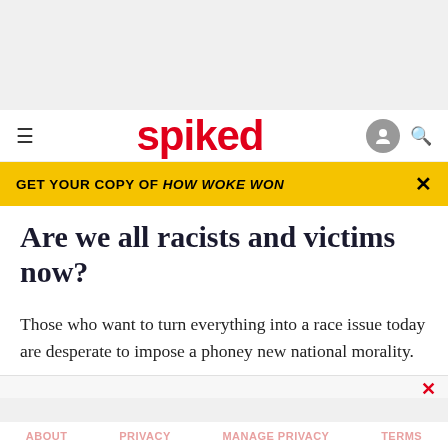[Figure (other): Gray advertisement banner placeholder at top of page]
spiked
GET YOUR COPY OF HOW WOKE WON
Are we all racists and victims now?
Those who want to turn everything into a race issue today are desperate to impose a phoney new national morality.
ABOUT   PRIVACY   MANAGE PRIVACY   TERMS